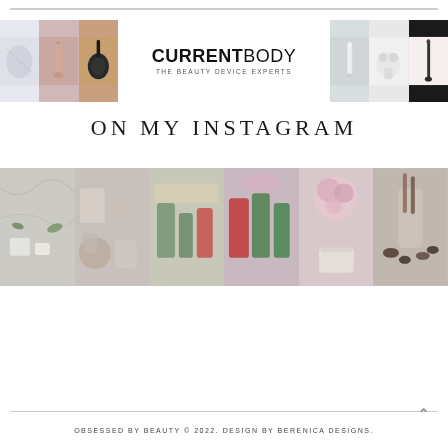[Figure (logo): CurrentBody banner with logo and beauty device product images on left and right sides. Text: CURRENTBODY - THE BEAUTY DEVICE EXPERTS]
ON MY INSTAGRAM
[Figure (photo): Strip of Instagram photos showing various beauty products — skincare items, makeup, flowers, face creams arranged in 6 panels]
OBSESSED BY BEAUTY © 2022. DESIGN BY BERENICA DESIGNS.